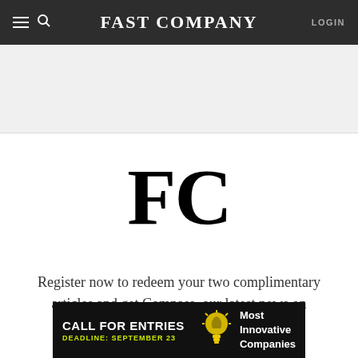FAST COMPANY  LOGIN
[Figure (logo): FC monogram logo in large bold serif font]
Register now to redeem your two complimentary articles and get Compass, our latest news on innovation, sent straight to your inbox daily
[Figure (infographic): Call for Entries advertisement banner: CALL FOR ENTRIES, DEADLINE: SEPTEMBER 23, lightbulb icon, Most Innovative Companies]